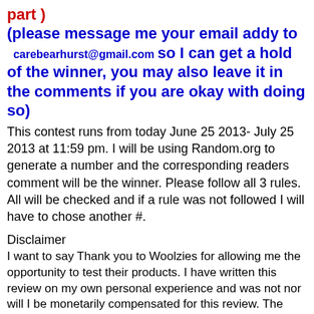part )
(please message me your email addy to carebearhurst@gmail.com so I can get a hold of the winner, you may also leave it in the comments if you are okay with doing so)
This contest runs from today June 25 2013- July 25 2013 at 11:59 pm. I will be using Random.org to generate a number and the corresponding readers comment will be the winner. Please follow all 3 rules. All will be checked and if a rule was not followed I will have to chose another #.
Disclaimer
I want to say Thank you to Woolzies for allowing me the opportunity to test their products. I have written this review on my own personal experience and was not nor will I be monetarily compensated for this review. The prize for the contest is sponsored from Woolzies and will be shipped to winner by sponsor.